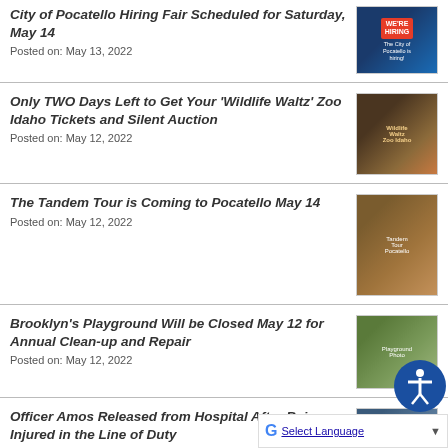City of Pocatello Hiring Fair Scheduled for Saturday, May 14
Posted on: May 13, 2022
[Figure (photo): We're Hiring - The City of Pocatello is hiring! promotional image]
Only TWO Days Left to Get Your 'Wildlife Waltz' Zoo Idaho Tickets and Silent Auction
Posted on: May 12, 2022
[Figure (photo): Wildlife Waltz Zoo Idaho event promotional flyer]
The Tandem Tour is Coming to Pocatello May 14
Posted on: May 12, 2022
[Figure (photo): Tandem Tour event flyer with circular blue graphic]
Brooklyn's Playground Will be Closed May 12 for Annual Clean-up and Repair
Posted on: May 12, 2022
[Figure (photo): Photo of Brooklyn's Playground area with people]
Officer Amos Released from Hospital After Being Injured in the Line of Duty
Posted on: May 11, 2022
[Figure (photo): Photo related to Officer Amos]